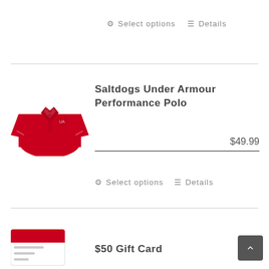[Figure (photo): Red polo shirt product image (partially shown at top)]
Select options   Details
[Figure (photo): Red Saltdogs Under Armour Performance Polo shirt]
Saltdogs Under Armour Performance Polo
$49.99
Select options   Details
$50 Gift Card
[Figure (photo): Gift card image partially visible at bottom]